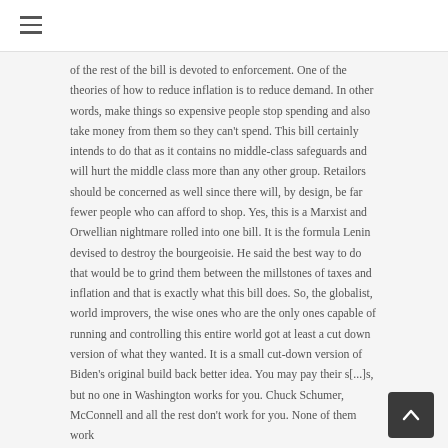≡
of the rest of the bill is devoted to enforcement. One of the theories of how to reduce inflation is to reduce demand. In other words, make things so expensive people stop spending and also take money from them so they can't spend. This bill certainly intends to do that as it contains no middle-class safeguards and will hurt the middle class more than any other group. Retailors should be concerned as well since there will, by design, be far fewer people who can afford to shop. Yes, this is a Marxist and Orwellian nightmare rolled into one bill. It is the formula Lenin devised to destroy the bourgeoisie. He said the best way to do that would be to grind them between the millstones of taxes and inflation and that is exactly what this bill does. So, the globalist, world improvers, the wise ones who are the only ones capable of running and controlling this entire world got at least a cut down version of what they wanted. It is a small cut-down version of Biden's original build back better idea. You may pay their s...s, but no one in Washington works for you. Chuck Schumer, McConnell and all the rest don't work for you. None of them work